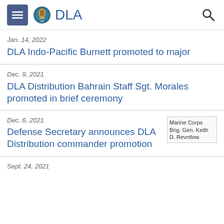DLA
Jan. 14, 2022
DLA Indo-Pacific Burnett promoted to major
Dec. 9, 2021
DLA Distribution Bahrain Staff Sgt. Morales promoted in brief ceremony
Dec. 6, 2021
Defense Secretary announces DLA Distribution commander promotion
[Figure (photo): Marine Corps Brig. Gen. Keith D. Revntlow]
Sept. 24, 2021